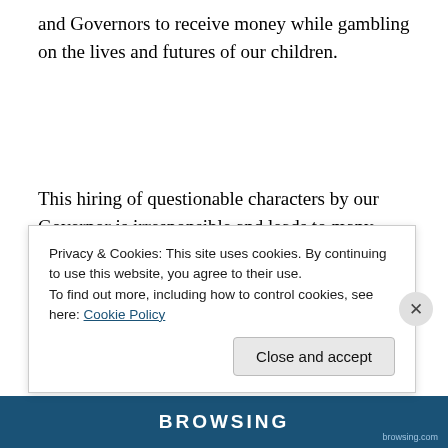and Governors to receive money while gambling on the lives and futures of our children.
This hiring of questionable characters by our Governor is irresponsible and leads to many decisions that we have not felt yet.
The idea that we must provide an environment for sharia compliance while radically reforming our educational
Privacy & Cookies: This site uses cookies. By continuing to use this website, you agree to their use.
To find out more, including how to control cookies, see here: Cookie Policy
Close and accept